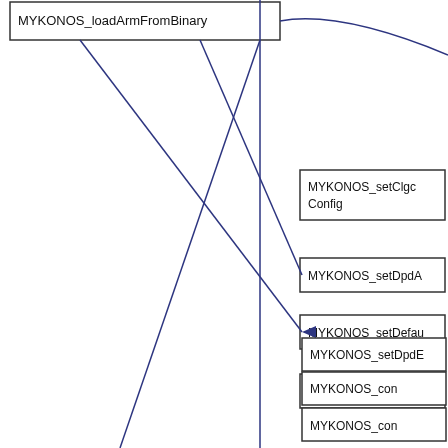[Figure (flowchart): Partial view of a software function call graph/flowchart showing MYKONOS API functions as rectangular nodes connected by directed edges. Visible nodes include: MYKONOS_loadArmFromBinary (top left), MYKONOS_setClgcConfig (right upper), MYKONOS_setDpdA... (right middle-upper), MYKONOS_setDefault... (right middle, with arrow pointing to it), MYKONOS_con... (right middle-lower, two instances), MYKONOS_setDpdE... (right lower), MYKONOS_con... (right bottom). Lines connect the nodes with crossing paths.]